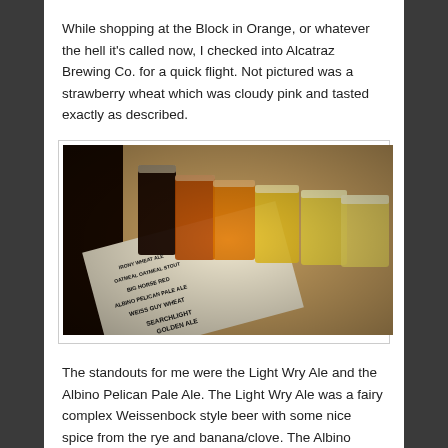While shopping at the Block in Orange, or whatever the hell it's called now, I checked into Alcatraz Brewing Co. for a quick flight. Not pictured was a strawberry wheat which was cloudy pink and tasted exactly as described.
[Figure (photo): A flight of craft beers in small glasses arranged on a table with a beer menu visible listing names including: Weiss Guy Wheat, Albino Pelican Pale Ale, Big Horse Red, Oatmeal Stout, and Searchlight Golden Ale. The beers range in color from dark brown/black to amber to golden/pale yellow.]
The standouts for me were the Light Wry Ale and the Albino Pelican Pale Ale. The Light Wry Ale was a fairy complex Weissenbock style beer with some nice spice from the rye and banana/clove. The Albino Pelican Ale